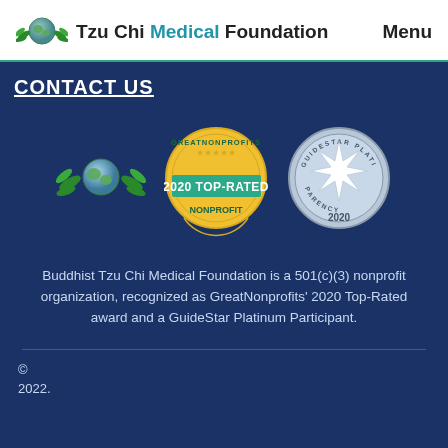Tzu Chi Medical Foundation  Menu
CONTACT US
[Figure (logo): Tzu Chi Medical Foundation logo - globe with green wings]
[Figure (logo): GreatNonprofits 2020 Top-Rated Nonprofit badge - gold circular seal with teal banner]
[Figure (logo): GuideStar Platinum Seal of Transparency 2020 - circular silver/gray seal with star]
Buddhist Tzu Chi Medical Foundation is a 501(c)(3) nonprofit organization, recognized as GreatNonprofits' 2020 Top-Rated award and a GuideStar Platinum Participant.
© 2022.